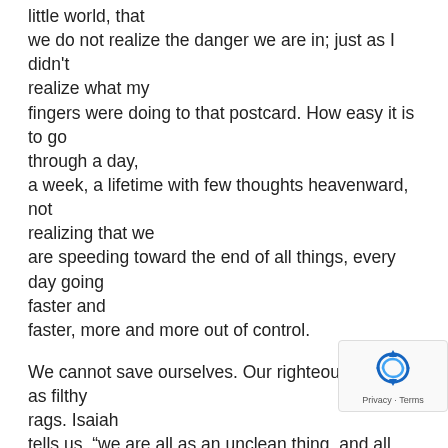little world, that we do not realize the danger we are in; just as I didn't realize what my fingers were doing to that postcard. How easy it is to go through a day, a week, a lifetime with few thoughts heavenward, not realizing that we are speeding toward the end of all things, every day going faster and faster, more and more out of control.
We cannot save ourselves. Our righteousness is as filthy rags. Isaiah tells us, “we are all as an unclean thing, and all our righteousnesses are as filthy rags; and we all do fade as a leaf; and our iniquities, like the wind, have taken us away. And there is non… calleth upon thy name, that stirreth up himself to take hold of thee; for
[Figure (other): reCAPTCHA privacy badge in bottom-right corner showing the reCAPTCHA logo (circular arrows icon in blue) with 'Privacy · Terms' text link below.]